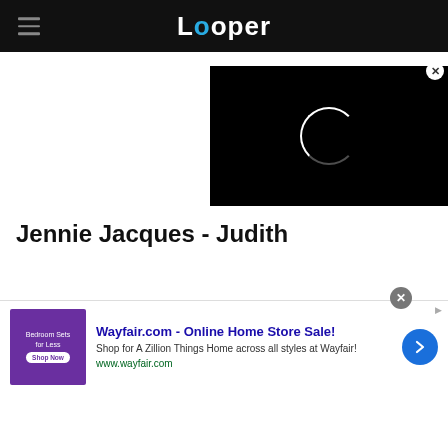Looper
[Figure (screenshot): Video player with black background showing a loading spinner circle in white]
Jennie Jacques - Judith
[Figure (other): Advertisement banner: Wayfair.com - Online Home Store Sale! Shop for A Zillion Things Home across all styles at Wayfair! www.wayfair.com]